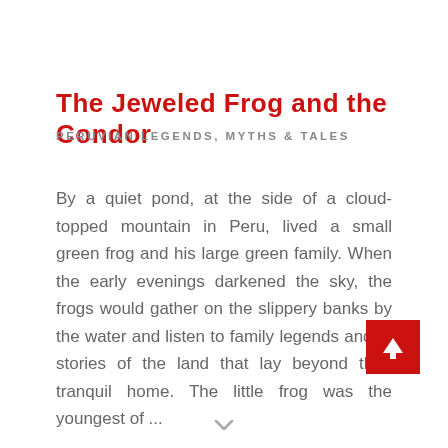The Jeweled Frog and the Condor
PERUVIAN LEGENDS, MYTHS & TALES
By a quiet pond, at the side of a cloud-topped mountain in Peru, lived a small green frog and his large green family. When the early evenings darkened the sky, the frogs would gather on the slippery banks by the water and listen to family legends and to stories of the land that lay beyond their tranquil home. The little frog was the youngest of ...
[Figure (other): Red square button with white upward arrow icon]
[Figure (other): Small chevron/arrow symbol at bottom center of page]